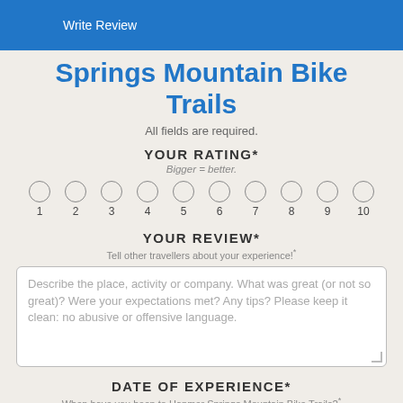Write Review
Springs Mountain Bike Trails
All fields are required.
YOUR RATING*
Bigger = better.
1 2 3 4 5 6 7 8 9 10
YOUR REVIEW*
Tell other travellers about your experience!*
Describe the place, activity or company. What was great (or not so great)? Were your expectations met? Any tips? Please keep it clean: no abusive or offensive language.
DATE OF EXPERIENCE*
When have you been to Hanmer Springs Mountain Bike Trails?*